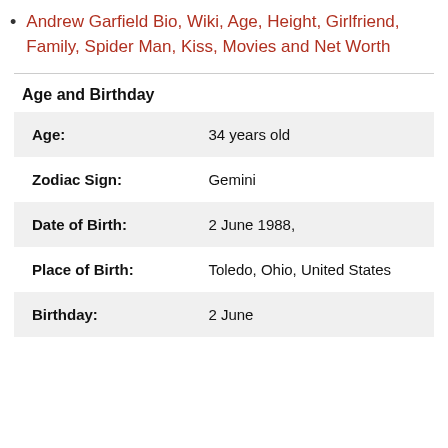Andrew Garfield Bio, Wiki, Age, Height, Girlfriend, Family, Spider Man, Kiss, Movies and Net Worth
Age and Birthday
| Age: | 34 years old |
| Zodiac Sign: | Gemini |
| Date of Birth: | 2 June 1988, |
| Place of Birth: | Toledo, Ohio, United States |
| Birthday: | 2 June |